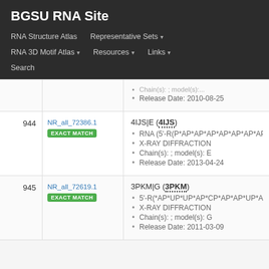BGSU RNA Site
RNA Structure Atlas | Representative Sets | RNA 3D Motif Atlas | Resources | Links | Search
| # | ID | Details |
| --- | --- | --- |
|  |  | Release Date: 2010-08-25 |
| 944 | NR_all_72386.1 EXACT MATCH | 4IJS|E (4IJS) • RNA (5'-R(P*AP*AP*AP*AP*AP*AP*AP*A • X-RAY DIFFRACTION • Chain(s): ; model(s): E • Release Date: 2013-04-24 |
| 945 | NR_all_72619.1 EXACT MATCH | 3PKM|G (3PKM) • 5'-R(*AP*UP*UP*AP*CP*AP*AP*UP*AP* • X-RAY DIFFRACTION • Chain(s): ; model(s): G • Release Date: 2011-03-09 |